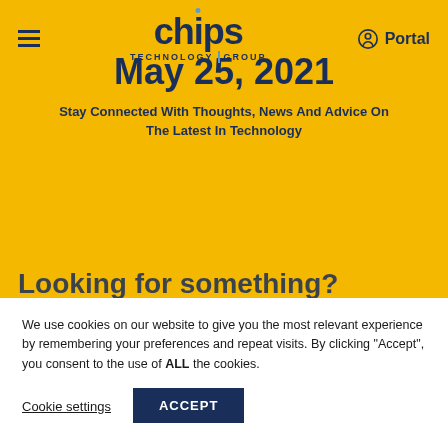[Figure (logo): Chips Technology Group logo with hamburger menu and Portal link in navigation bar on yellow background]
May 25, 2021
Stay Connected With Thoughts, News And Advice On The Latest In Technology
Looking for something?
We use cookies on our website to give you the most relevant experience by remembering your preferences and repeat visits. By clicking “Accept”, you consent to the use of ALL the cookies.
Cookie settings
ACCEPT